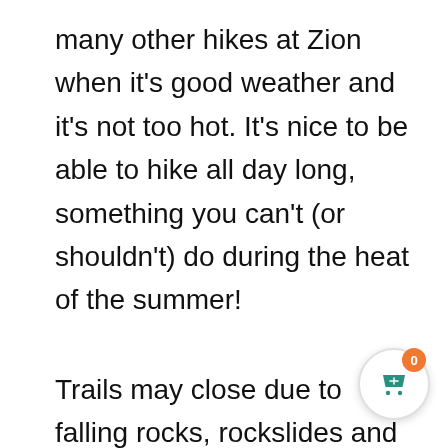many other hikes at Zion when it's good weather and it's not too hot. It's nice to be able to hike all day long, something you can't (or shouldn't) do during the heat of the summer!
Trails may close due to falling rocks, rockslides and other unsafe conditions so check with the visitor's center for the most current trail conditions before setting out on any